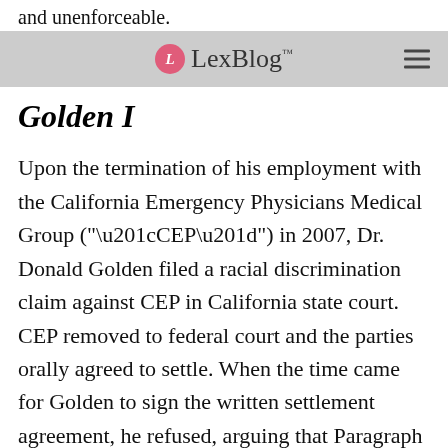and unenforceable.
LexBlog
Golden I
Upon the termination of his employment with the California Emergency Physicians Medical Group (“CEP”) in 2007, Dr. Donald Golden filed a racial discrimination claim against CEP in California state court. CEP removed to federal court and the parties orally agreed to settle. When the time came for Golden to sign the written settlement agreement, he refused, arguing that Paragraph 7 violated Section 16600 of the California Business & Professions Code. Section 16600 prohibits contracts “by